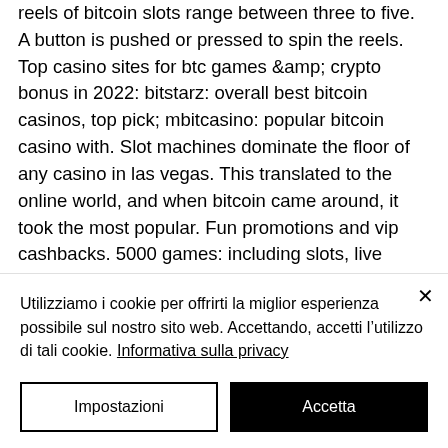reels of bitcoin slots range between three to five. A button is pushed or pressed to spin the reels. Top casino sites for btc games &amp; crypto bonus in 2022: bitstarz: overall best bitcoin casinos, top pick; mbitcasino: popular bitcoin casino with. Slot machines dominate the floor of any casino in las vegas. This translated to the online world, and when bitcoin came around, it took the most popular. Fun promotions and vip cashbacks. 5000 games: including slots, live casino and provably fair. Bitcoin slot casinos – where to find the best crypto slots. Play bitcoin slots and crypto casino slots. Find no deposit codes and bitcoin casino bonus
Utilizziamo i cookie per offrirti la miglior esperienza possibile sul nostro sito web. Accettando, accetti l'utilizzo di tali cookie. Informativa sulla privacy
Impostazioni
Accetta